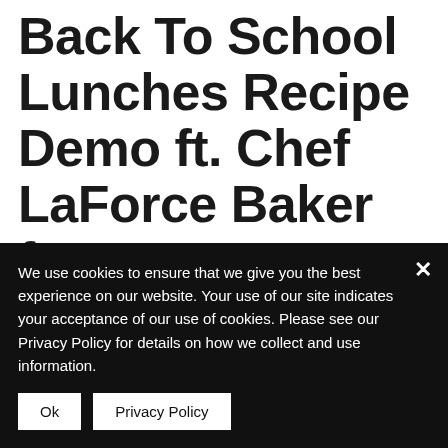Back To School Lunches Recipe Demo ft. Chef LaForce Baker from Moon Meals™
We use cookies to ensure that we give you the best experience on our website. Your use of our site indicates your acceptance of our use of cookies. Please see our Privacy Policy for details on how we collect and use information.